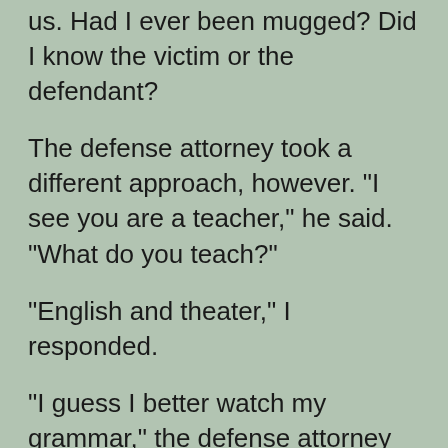us. Had I ever been mugged? Did I know the victim or the defendant?
The defense attorney took a different approach, however. "I see you are a teacher," he said. "What do you teach?"
"English and theater," I responded.
"I guess I better watch my grammar," the defense attorney quipped.
"No," I shot back. "You better watch your acting."
When the laughter in the courtroom died down,